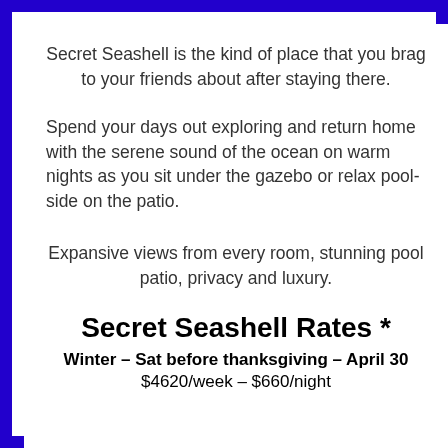Secret Seashell is the kind of place that you brag to your friends about after staying there.
Spend your days out exploring and return home with the serene sound of the ocean on warm nights as you sit under the gazebo or relax pool-side on the patio.
Expansive views from every room, stunning pool patio, privacy and luxury.
Secret Seashell Rates *
Winter – Sat before thanksgiving – April 30
$4620/week – $660/night